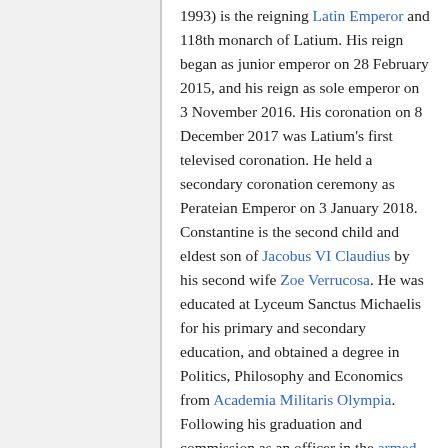1993) is the reigning Latin Emperor and 118th monarch of Latium. His reign began as junior emperor on 28 February 2015, and his reign as sole emperor on 3 November 2016. His coronation on 8 December 2017 was Latium's first televised coronation. He held a secondary coronation ceremony as Perateian Emperor on 3 January 2018. Constantine is the second child and eldest son of Jacobus VI Claudius by his second wife Zoe Verrucosa. He was educated at Lyceum Sanctus Michaelis for his primary and secondary education, and obtained a degree in Politics, Philosophy and Economics from Academia Militaris Olympia. Following his graduation and commission as an officer in the armed forces, Constantine undertook a number of Imperial duties